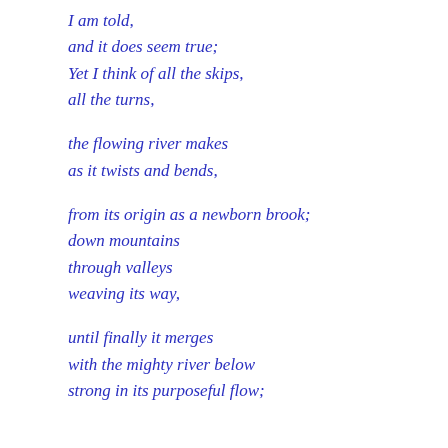I am told,
and it does seem true;
Yet I think of all the skips,
all the turns,

the flowing river makes
as it twists and bends,

from its origin as a newborn brook;
down mountains
through valleys
weaving its way,

until finally it merges
with the mighty river below
strong in its purposeful flow;